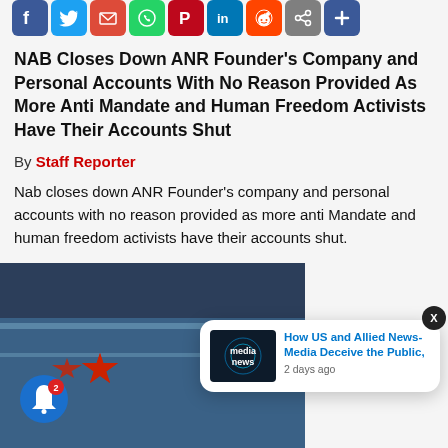[Figure (infographic): Social sharing buttons row: Facebook (blue f), Twitter (blue bird), Email (red envelope), WhatsApp (green phone), Pinterest (red P), LinkedIn (blue in), Reddit (orange alien), Copy (grey links), Plus/Share (blue +)]
NAB Closes Down ANR Founder's Company and Personal Accounts With No Reason Provided As More Anti Mandate and Human Freedom Activists Have Their Accounts Shut
By Staff Reporter
Nab closes down ANR Founder's company and personal accounts with no reason provided as more anti Mandate and human freedom activists have their accounts shut.
[Figure (photo): Photo of a building exterior with a red star logo (NAB bank), featuring a blue metallic facade with diagonal lines.]
[Figure (screenshot): Notification popup showing a 'media news' thumbnail article titled 'How US and Allied News-Media Deceive the Public,' with timestamp '2 days ago'. Has an X close button. Blue circle notification bell with badge count 2 in bottom left.]